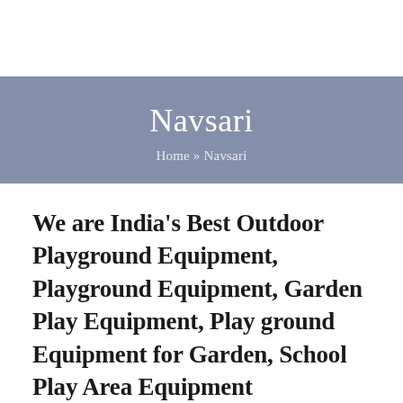Navsari
Home » Navsari
We are India's Best Outdoor Playground Equipment, Playground Equipment, Garden Play Equipment, Play ground Equipment for Garden, School Play Area Equipment Manufacturer and